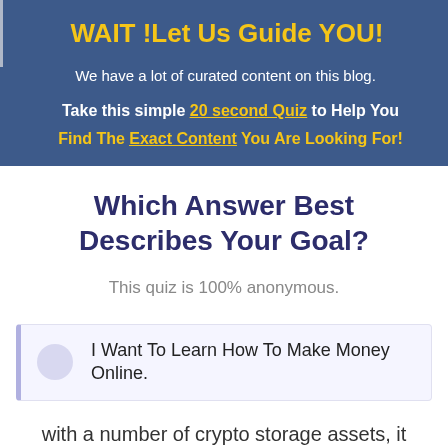WAIT !Let Us Guide YOU!
We have a lot of curated content on this blog.
Take this simple 20 second Quiz to Help You
Find The Exact Content You Are Looking For!
Which Answer Best Describes Your Goal?
This quiz is 100% anonymous.
I Want To Learn How To Make Money Online.
with a number of crypto storage assets, it doesn't require your system to download the complete